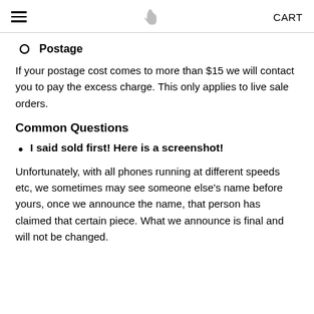≡  [logo icon]  CART
Postage
If your postage cost comes to more than $15 we will contact you to pay the excess charge. This only applies to live sale orders.
Common Questions
I said sold first! Here is a screenshot!
Unfortunately, with all phones running at different speeds etc, we sometimes may see someone else's name before yours, once we announce the name, that person has claimed that certain piece. What we announce is final and will not be changed.